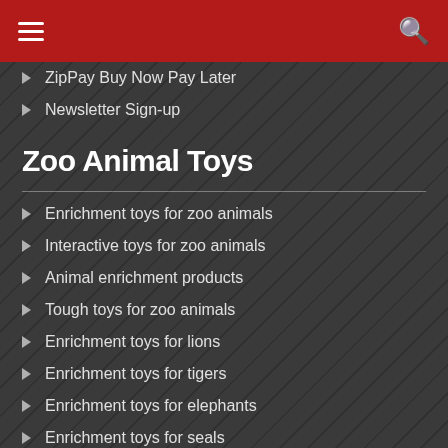☰ [navigation] 🔍 [search]
ZipPay Buy Now Pay Later
Newsletter Sign-up
Zoo Animal Toys
Enrichment toys for zoo animals
Interactive toys for zoo animals
Animal enrichment products
Tough toys for zoo animals
Enrichment toys for lions
Enrichment toys for tigers
Enrichment toys for elephants
Enrichment toys for seals